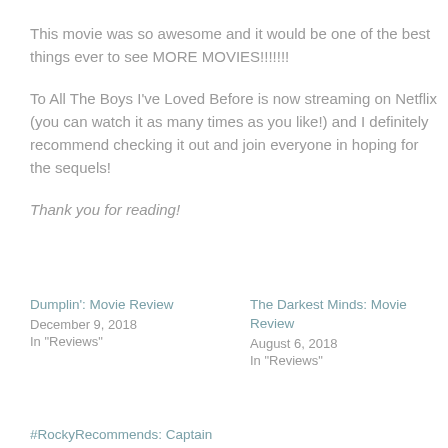This movie was so awesome and it would be one of the best things ever to see MORE MOVIES!!!!!!!
To All The Boys I've Loved Before is now streaming on Netflix (you can watch it as many times as you like!) and I definitely recommend checking it out and join everyone in hoping for the sequels!
Thank you for reading!
Dumplin': Movie Review
December 9, 2018
In "Reviews"
The Darkest Minds: Movie Review
August 6, 2018
In "Reviews"
#RockyRecommends: Captain Marvel
March 15, 2019